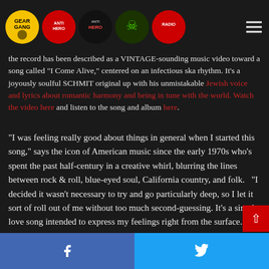Navigation bar with logos: GearGang, AntiHero, AntiHero, skull logo, Radio logo, and hamburger menu
the record has been described as a VINTAGE-sounding music video toward a song called "I Come Alive," centered on an infectious ska rhythm. It's a joyously soulful SCHMIT original up with his unmistakable Jewish voice and lyrics about romantic harmony and being in tune with the world. Watch the video here and listen to the song and album here.
"I was feeling really good about things in general when I started this song," says the icon of American music since the early 1970s who's spent the past half-century in a creative whirl, blurring the lines between rock & roll, blue-eyed soul, California country, and folk.   "I decided it wasn't necessary to try and go particularly deep, so I let it sort of roll out of me without too much second-guessing. It's a simple love song intended to express my feelings right from the surface."
TIMOTHY adds: "I am a fan of reggae and its cousin, ska. This
Facebook share | Twitter share